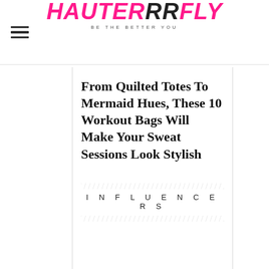HAUTERRFLY — BE THE BETTER YOU
From Quilted Totes To Mermaid Hues, These 10 Workout Bags Will Make Your Sweat Sessions Look Stylish
INFLUENCERS